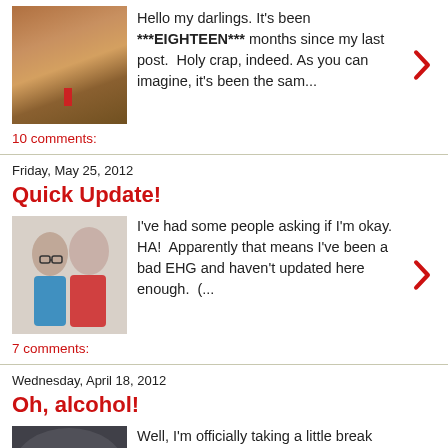Hello my darlings. It's been ***EIGHTEEN*** months since my last post.  Holy crap, indeed. As you can imagine, it's been the sam...
10 comments:
Friday, May 25, 2012
Quick Update!
I've had some people asking if I'm okay.  HA!  Apparently that means I've been a bad EHG and haven't updated here enough.  (...
7 comments:
Wednesday, April 18, 2012
Oh, alcohol!
Well, I'm officially taking a little break from my social drinking.  A whole evening of drinking is equivalent to a whole day's wort...
2 comments: